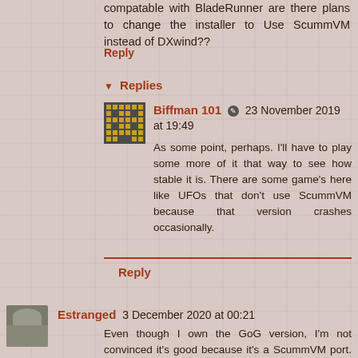compatable with BladeRunner are there plans to change the installer to Use ScummVM instead of DXwind??
Reply
▼ Replies
Biffman 101 ✎ 23 November 2019 at 19:49
As some point, perhaps. I'll have to play some more of it that way to see how stable it is. There are some game's here like UFOs that don't use ScummVM because that version crashes occasionally.
Reply
Estranged 3 December 2020 at 00:21
Even though I own the GoG version, I'm not convinced it's good because it's a ScummVM port. I'll get to playing it eventually but I'm not optimistic, here's why: